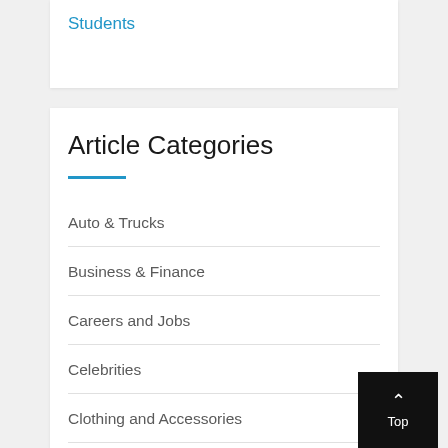Students
Article Categories
Auto & Trucks
Business & Finance
Careers and Jobs
Celebrities
Clothing and Accessories
Computers & Internet